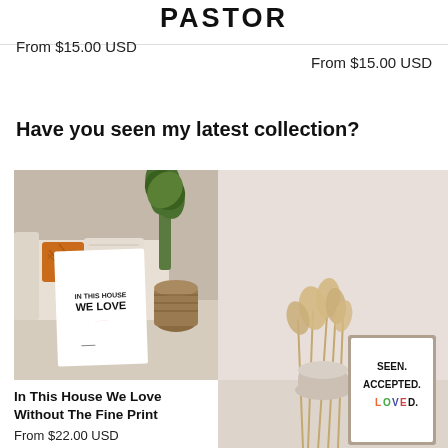PASTOR
From $15.00 USD
From $15.00 USD
Have you seen my latest collection?
[Figure (photo): Living room scene with a white print leaning against a couch. The print reads 'IN THIS HOUSE WE LOVE'. Orange pillow and palm plant visible in background.]
[Figure (photo): Minimalist room with pampas grass and a framed print reading 'SEEN. ACCEPTED. LOVED.' with LOVED in colorful letters.]
In This House We Love Without The Fine Print
From $22.00 USD